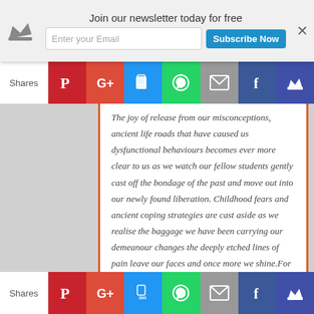Join our newsletter today for free
The joy of release from our misconceptions, ancient life roads that have caused us dysfunctional behaviours becomes ever more clear to us as we watch our fellow students gently cast off the bondage of the past and move out into our newly found liberation. Childhood fears and ancient coping strategies are cast aside as we realise the baggage we have been carrying our demeanour changes the deeply etched lines of pain leave our faces and once more we shine.For some of us who have known no peace in life this is the first time and we become fearful attempting to scuttle once more into our shadowy past. We scurry back filled with our knowledge and come to